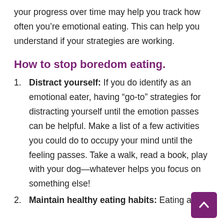your progress over time may help you track how often you’re emotional eating. This can help you understand if your strategies are working.
How to stop boredom eating.
Distract yourself: If you do identify as an emotional eater, having “go-to” strategies for distracting yourself until the emotion passes can be helpful. Make a list of a few activities you could do to occupy your mind until the feeling passes. Take a walk, read a book, play with your dog—whatever helps you focus on something else!
Maintain healthy eating habits: Eating at